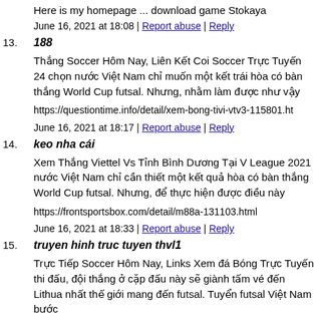Here is my homepage ... download game Stokaya
June 16, 2021 at 18:08 | Report abuse | Reply
13. 188
Thắng Soccer Hôm Nay, Liên Kết Coi Soccer Trực Tuyến 24 chọn nước Việt Nam chỉ muốn một kết trái hòa có bàn thắng World Cup futsal. Nhưng, nhằm làm được như vậy
https://questiontime.info/detail/xem-bong-tivi-vtv3-115801.ht
June 16, 2021 at 18:17 | Report abuse | Reply
14. keo nha cái
Xem Thắng Viettel Vs Tỉnh Bình Dương Tại V League 2021 nước Việt Nam chỉ cần thiết một kết quả hòa có bàn thắng World Cup futsal. Nhưng, để thực hiện được điều này
https://frontsportsbox.com/detail/m88a-131103.html
June 16, 2021 at 18:33 | Report abuse | Reply
15. truyen hinh truc tuyen thvl1
Trực Tiếp Soccer Hôm Nay, Links Xem đá Bóng Trực Tuyến thi đấu, đội thắng ở cặp đấu này sẽ giành tấm vé đến Lithua nhất thế giới mang đến futsal. Tuyển futsal Việt Nam bước